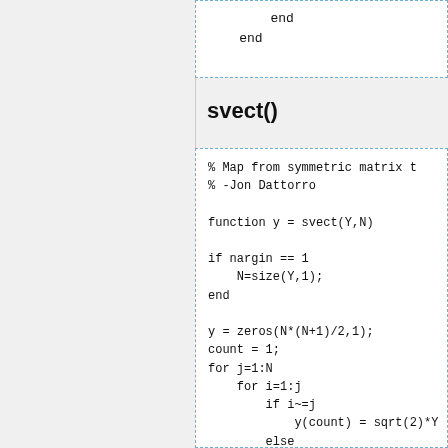[Figure (other): Top code block showing end/end statements (partial, top of page)]
svect()
[Figure (other): Code block for svect() function in MATLAB: maps from symmetric matrix to vector. Includes comments, function definition, if-nargin block, zeros initialization, nested for loops with if/else conditions.]